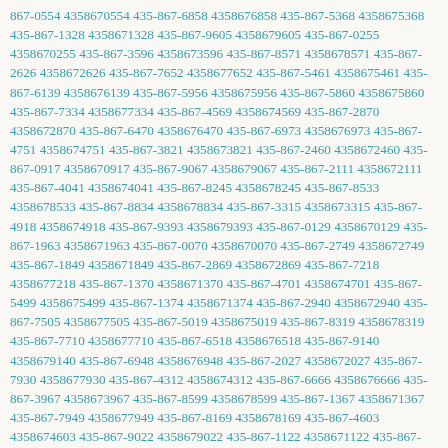867-0554 4358670554 435-867-6858 4358676858 435-867-5368 4358675368 435-867-1328 4358671328 435-867-9605 4358679605 435-867-0255 4358670255 435-867-3596 4358673596 435-867-8571 4358678571 435-867-2626 4358672626 435-867-7652 4358677652 435-867-5461 4358675461 435-867-6139 4358676139 435-867-5956 4358675956 435-867-5860 4358675860 435-867-7334 4358677334 435-867-4569 4358674569 435-867-2870 4358672870 435-867-6470 4358676470 435-867-6973 4358676973 435-867-4751 4358674751 435-867-3821 4358673821 435-867-2460 4358672460 435-867-0917 4358670917 435-867-9067 4358679067 435-867-2111 4358672111 435-867-4041 4358674041 435-867-8245 4358678245 435-867-8533 4358678533 435-867-8834 4358678834 435-867-3315 4358673315 435-867-4918 4358674918 435-867-9393 4358679393 435-867-0129 4358670129 435-867-1963 4358671963 435-867-0070 4358670070 435-867-2749 4358672749 435-867-1849 4358671849 435-867-2869 4358672869 435-867-7218 4358677218 435-867-1370 4358671370 435-867-4701 4358674701 435-867-5499 4358675499 435-867-1374 4358671374 435-867-2940 4358672940 435-867-7505 4358677505 435-867-5019 4358675019 435-867-8319 4358678319 435-867-7710 4358677710 435-867-6518 4358676518 435-867-9140 4358679140 435-867-6948 4358676948 435-867-2027 4358672027 435-867-7930 4358677930 435-867-4312 4358674312 435-867-6666 4358676666 435-867-3967 4358673967 435-867-8599 4358678599 435-867-1367 4358671367 435-867-7949 4358677949 435-867-8169 4358678169 435-867-4603 4358674603 435-867-9022 4358679022 435-867-1122 4358671122 435-867-8440 4358678440 435-867-4721 4358674721 435-867-5665 4358675665 435-867-6413 4358676413 435-867-4905